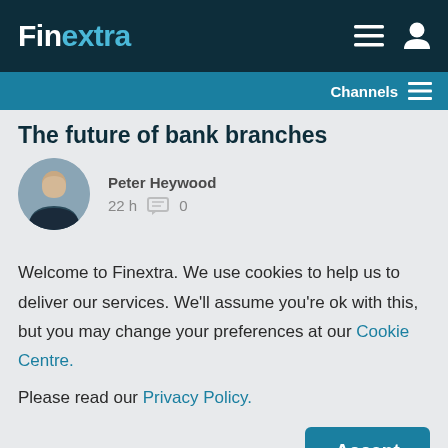Finextra
Channels
The future of bank branches
Peter Heywood
22 h  0
Welcome to Finextra. We use cookies to help us to deliver our services. We'll assume you're ok with this, but you may change your preferences at our Cookie Centre.
Please read our Privacy Policy.